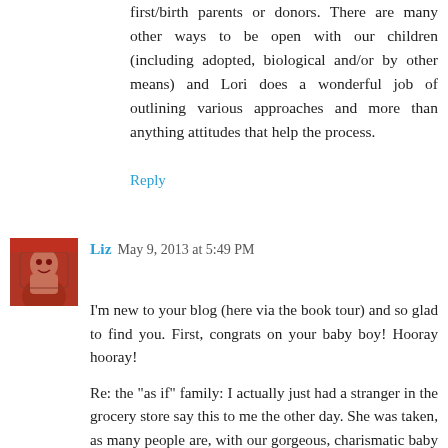first/birth parents or donors. There are many other ways to be open with our children (including adopted, biological and/or by other means) and Lori does a wonderful job of outlining various approaches and more than anything attitudes that help the process.
Reply
Liz  May 9, 2013 at 5:49 PM
I'm new to your blog (here via the book tour) and so glad to find you. First, congrats on your baby boy! Hooray hooray!
Re: the "as if" family: I actually just had a stranger in the grocery store say this to me the other day. She was taken, as many people are, with our gorgeous, charismatic baby girl. She cooed at my daughter and chatted me up while we waited in an interminable line. Then she asked me if our daughter was "planned" and I (why WHY do I do this?) told her we'd adopted. She looked SHOCKED. She looked at my daughter, looked at me, looked at my daughter, looked at me, then "reassured" me: "well, you'd NEVER know. But